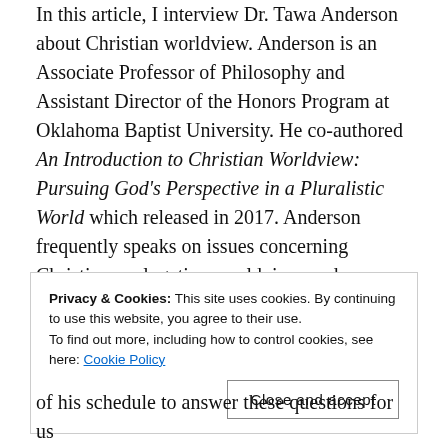In this article, I interview Dr. Tawa Anderson about Christian worldview. Anderson is an Associate Professor of Philosophy and Assistant Director of the Honors Program at Oklahoma Baptist University. He co-authored An Introduction to Christian Worldview: Pursuing God's Perspective in a Pluralistic World which released in 2017. Anderson frequently speaks on issues concerning Christian apologetics, worldview, and philosophy for churches, seminaries, universities, and schools.
Privacy & Cookies: This site uses cookies. By continuing to use this website, you agree to their use. To find out more, including how to control cookies, see here: Cookie Policy
of his schedule to answer these questions for us